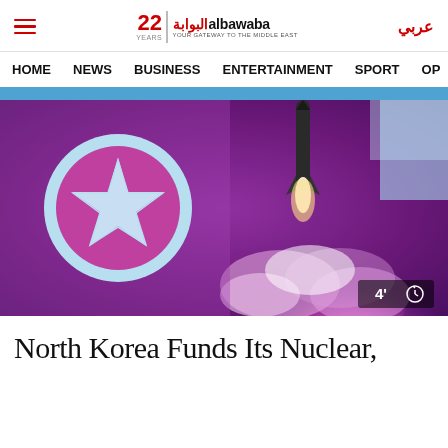albawaba — 22 YEARS — عربي
HOME  NEWS  BUSINESS  ENTERTAINMENT  SPORT  OP
[Figure (photo): North Korea flag with star emblem on left, missile launching with pink/white smoke and glow on right. Timer badge showing 4' and stopwatch icon in bottom right corner.]
North Korea Funds Its Nuclear,